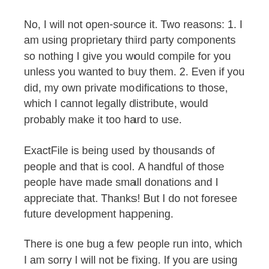No, I will not open-source it. Two reasons: 1. I am using proprietary third party components so nothing I give you would compile for you unless you wanted to buy them. 2. Even if you did, my own private modifications to those, which I cannot legally distribute, would probably make it too hard to use.
ExactFile is being used by thousands of people and that is cool. A handful of those people have made small donations and I appreciate that. Thanks! But I do not foresee future development happening.
There is one bug a few people run into, which I am sorry I will not be fixing. If you are using file names with characters that are encoded with different normalization than what Windows does when UTF-16 is converted to UTF-8, then ExactFile will not be able to find your file when it loads the digest, and will report that it is not there, even if it is. The only reliable way to